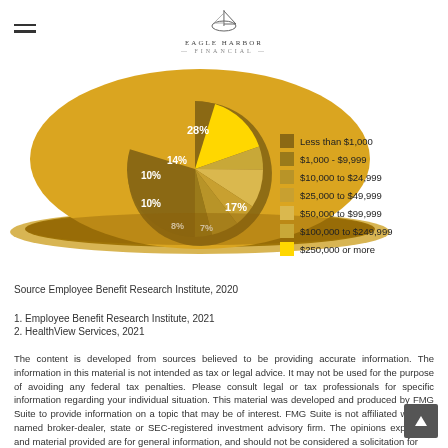Eagle Harbor Financial
[Figure (pie-chart): Retirement savings distribution]
Source Employee Benefit Research Institute, 2020
1. Employee Benefit Research Institute, 2021
2. HealthView Services, 2021
The content is developed from sources believed to be providing accurate information. The information in this material is not intended as tax or legal advice. It may not be used for the purpose of avoiding any federal tax penalties. Please consult legal or tax professionals for specific information regarding your individual situation. This material was developed and produced by FMG Suite to provide information on a topic that may be of interest. FMG Suite is not affiliated with the named broker-dealer, state or SEC-registered investment advisory firm. The opinions expressed and material provided are for general information, and should not be considered a solicitation for